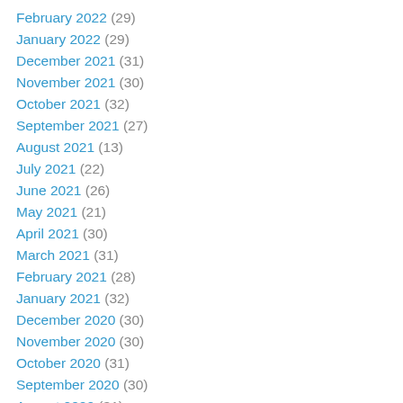February 2022 (29)
January 2022 (29)
December 2021 (31)
November 2021 (30)
October 2021 (32)
September 2021 (27)
August 2021 (13)
July 2021 (22)
June 2021 (26)
May 2021 (21)
April 2021 (30)
March 2021 (31)
February 2021 (28)
January 2021 (32)
December 2020 (30)
November 2020 (30)
October 2020 (31)
September 2020 (30)
August 2020 (31)
July 2020 (31)